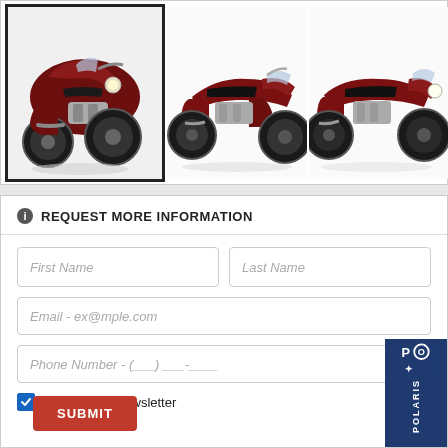[Figure (photo): Three Indian motorcycle images in a gallery: a large selected thumbnail on the left (dark red/maroon bagger motorcycle, front-angle view), and two smaller thumbnails on the right showing side views of the same or similar dark red motorcycles.]
REQUEST MORE INFORMATION
First Name
Last Name
Email - ex@mple.com
Phone Number - (___) ___-____
Subscribe to Newsletter
SUBMIT
[Figure (logo): Polaris logo badge in dark blue in the bottom-right corner, showing 'POLARIS' text vertically and the Polaris star logo mark.]